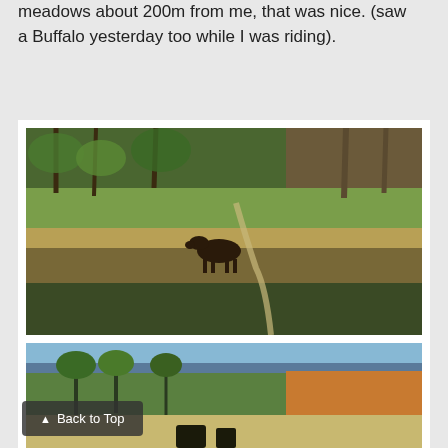meadows about 200m from me, that was nice. (saw a Buffalo yesterday too while I was riding).
[Figure (photo): A moose standing in a meadow with tall dry grass, a dirt trail visible, and coniferous trees in the background.]
[Figure (photo): A partial view of a forested mountain scene with green and orange trees near a body of water or sandy area, partially cut off at the bottom of the page.]
Back to Top